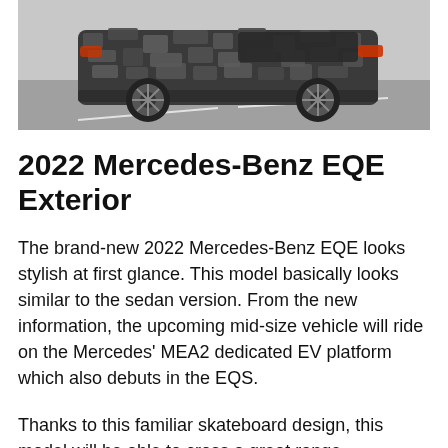[Figure (photo): A camouflaged 2022 Mercedes-Benz EQE prototype car photographed from the rear-side angle on a road, showing wrap camouflage pattern, large alloy wheels, and rear lights.]
2022 Mercedes-Benz EQE Exterior
The brand-new 2022 Mercedes-Benz EQE looks stylish at first glance. This model basically looks similar to the sedan version. From the new information, the upcoming mid-size vehicle will ride on the Mercedes' MEA2 dedicated EV platform which also debuts in the EQS.
Thanks to this familiar skateboard design, this model will be able to cross a great range